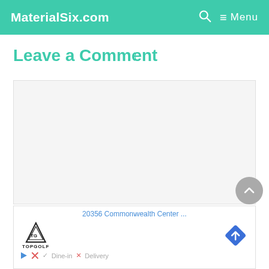MaterialSix.com   🔍   ☰ Menu
Leave a Comment
[Figure (screenshot): Large empty comment text area box with light gray background]
[Figure (screenshot): Advertisement box showing: address '20356 Commonwealth Center ...' in blue, Topgolf logo, blue diamond navigation arrow icon, play icon, X icon, 'Dine-in' with checkmark, 'Delivery' with X]
[Figure (other): Gray circular scroll-to-top button with white upward chevron arrow]